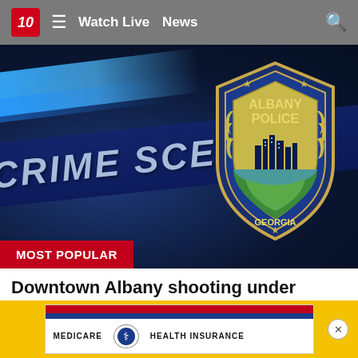10  ≡  Watch Live  News  🔍
[Figure (photo): Crime scene tape with 'CRIME SCENE DO NOT CROSS' text in foreground, Albany Police Georgia badge/shield logo on the right, blue flashing lights in background]
MOST POPULAR
Downtown Albany shooting under investigation
Walb
[Figure (photo): Medicare Health Insurance card advertisement banner with red, white and blue design on yellow background, with close button]